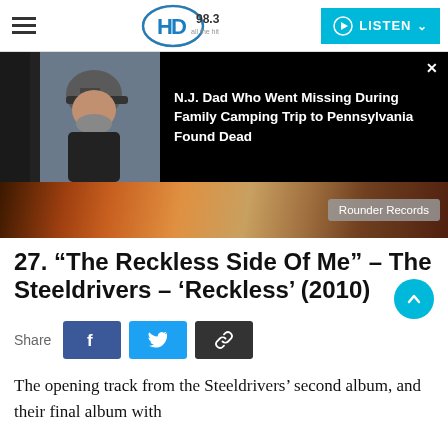HD 98.3 — LISTEN
[Figure (photo): Man wearing black cap and dark shirt, news overlay showing headline about N.J. Dad Who Went Missing During Family Camping Trip to Pennsylvania Found Dead]
[Figure (photo): Album art strip with Rounder Records label]
27. “The Reckless Side Of Me” – The Steeldrivers – ‘Reckless’ (2010)
Share
The opening track from the Steeldrivers’ second album, and their final album with